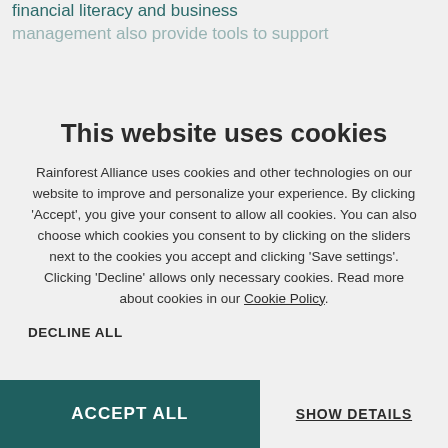financial literacy and business management also provide tools to support
This website uses cookies
Rainforest Alliance uses cookies and other technologies on our website to improve and personalize your experience. By clicking 'Accept', you give your consent to allow all cookies. You can also choose which cookies you consent to by clicking on the sliders next to the cookies you accept and clicking 'Save settings'. Clicking 'Decline' allows only necessary cookies. Read more about cookies in our Cookie Policy.
DECLINE ALL
ACCEPT ALL
SHOW DETAILS